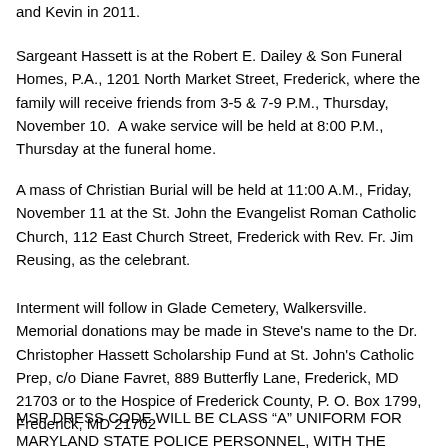and Kevin in 2011.
Sargeant Hassett is at the Robert E. Dailey & Son Funeral Homes, P.A., 1201 North Market Street, Frederick, where the family will receive friends from 3-5 & 7-9 P.M., Thursday, November 10.  A wake service will be held at 8:00 P.M., Thursday at the funeral home.
A mass of Christian Burial will be held at 11:00 A.M., Friday, November 11 at the St. John the Evangelist Roman Catholic Church, 112 East Church Street, Frederick with Rev. Fr. Jim Reusing, as the celebrant.
Interment will follow in Glade Cemetery, Walkersville. Memorial donations may be made in Steve's name to the Dr. Christopher Hassett Scholarship Fund at St. John's Catholic Prep, c/o Diane Favret, 889 Butterfly Lane, Frederick, MD 21703 or to the Hospice of Frederick County, P. O. Box 1799, Frederick, MD 21702
MSP DRESS CODE WILL BE CLASS “A” UNIFORM FOR MARYLAND STATE POLICE PERSONNEL, WITH THE EXCEPTION OF COVERT